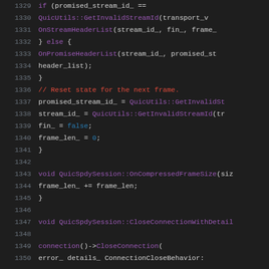[Figure (screenshot): C++ source code viewer showing lines 1329-1350 of a QUIC/SPDY session implementation, dark theme editor with line numbers, syntax highlighting in purple, red, blue, and white.]